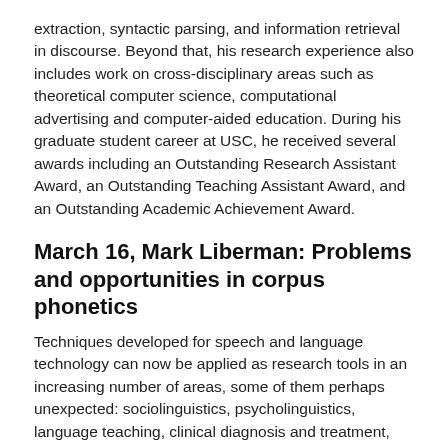extraction, syntactic parsing, and information retrieval in discourse. Beyond that, his research experience also includes work on cross-disciplinary areas such as theoretical computer science, computational advertising and computer-aided education. During his graduate student career at USC, he received several awards including an Outstanding Research Assistant Award, an Outstanding Teaching Assistant Award, and an Outstanding Academic Achievement Award.
March 16, Mark Liberman: Problems and opportunities in corpus phonetics
Techniques developed for speech and language technology can now be applied as research tools in an increasing number of areas, some of them perhaps unexpected: sociolinguistics, psycholinguistics, language teaching, clinical diagnosis and treatment, political science -- and even theoretical phonetics and phonology. Some